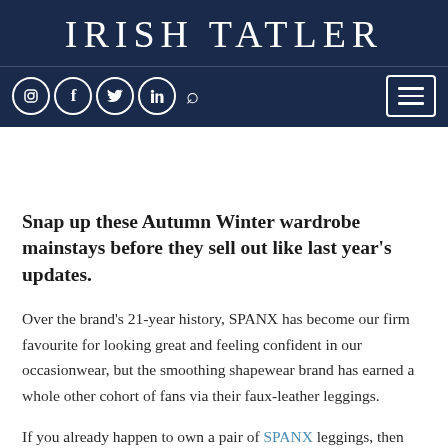IRISH TATLER
[Figure (screenshot): Navigation bar with social media icons (Instagram, Facebook, Twitter, LinkedIn), search icon, and hamburger menu button on navy background]
Snap up these Autumn Winter wardrobe mainstays before they sell out like last year's updates.
Over the brand's 21-year history, SPANX has become our firm favourite for looking great and feeling confident in our occasionwear, but the smoothing shapewear brand has earned a whole other cohort of fans via their faux-leather leggings.
If you already happen to own a pair of SPANX leggings, then